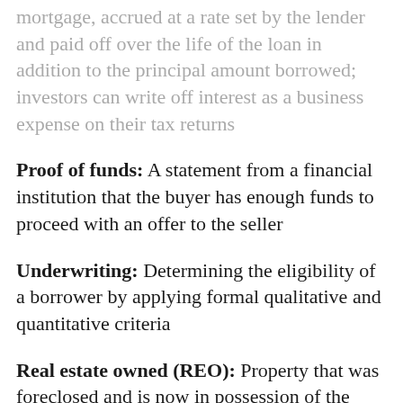mortgage, accrued at a rate set by the lender and paid off over the life of the loan in addition to the principal amount borrowed; investors can write off interest as a business expense on their tax returns
Proof of funds: A statement from a financial institution that the buyer has enough funds to proceed with an offer to the seller
Underwriting: Determining the eligibility of a borrower by applying formal qualitative and quantitative criteria
Real estate owned (REO): Property that was foreclosed and is now in possession of the bank that